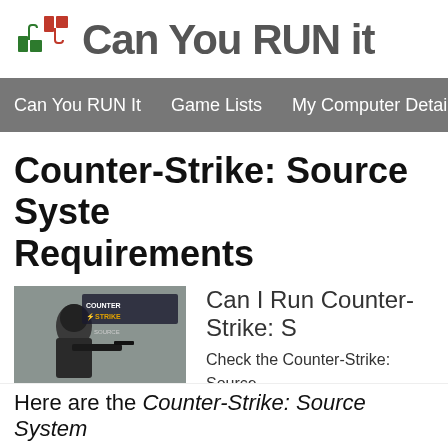[Figure (logo): Can You RUN it logo with green thumbs up and red thumbs down icons and grey bold text]
Can You RUN It   Game Lists   My Computer Details
Counter-Strike: Source System Requirements
[Figure (screenshot): Counter-Strike Source game box art showing a soldier with a rifle]
Check Pricing
Can I Run Counter-Strike: S
Check the Counter-Strike: Source Can I Run it? Test your specs and System requirements Lab runs m tests on over 8,500 games a mo
Here are the Counter-Strike: Source System